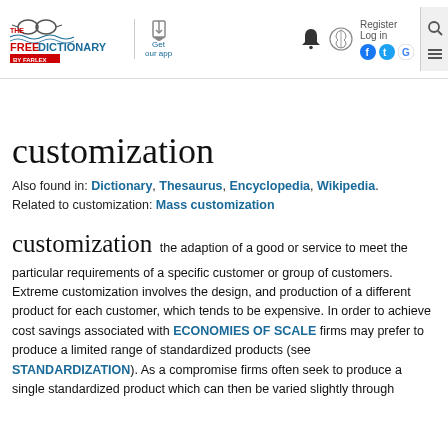THE FREE DICTIONARY BY FARLEX | Get our app | Register | Log in
customization
Also found in: Dictionary, Thesaurus, Encyclopedia, Wikipedia.
Related to customization: Mass customization
customization   the adaption of a good or service to meet the particular requirements of a specific customer or group of customers. Extreme customization involves the design, and production of a different product for each customer, which tends to be expensive. In order to achieve cost savings associated with ECONOMIES OF SCALE firms may prefer to produce a limited range of standardized products (see STANDARDIZATION). As a compromise firms often seek to produce a single standardized product which can then be varied slightly through